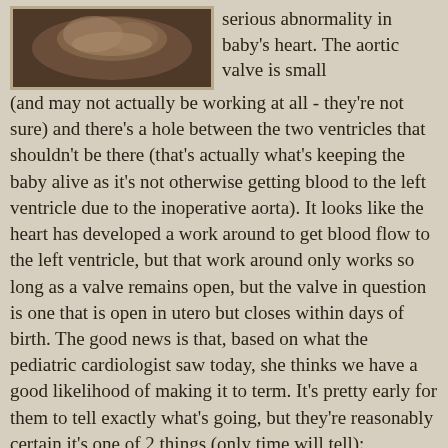[Figure (photo): Ultrasound image of a baby in sepia tones]
serious abnormality in baby's heart. The aortic valve is small (and may not actually be working at all - they're not sure) and there's a hole between the two ventricles that shouldn't be there (that's actually what's keeping the baby alive as it's not otherwise getting blood to the left ventricle due to the inoperative aorta). It looks like the heart has developed a work around to get blood flow to the left ventricle, but that work around only works so long as a valve remains open, but the valve in question is one that is open in utero but closes within days of birth. The good news is that, based on what the pediatric cardiologist saw today, she thinks we have a good likelihood of making it to term. It's pretty early for them to tell exactly what's going, but they're reasonably certain it's one of 2 things (only time will tell):
Scenario 1: Aortic Atresia with Venticular Septal Defect (Best case scenario)Everything stays exactly as it is and the body keeps pumping blood through that hole. Within 48 hours of baby's birth, they put baby on medicine to keep the valve open temporarily and within the week, baby is moved to Children's Hospital LA and has open heart surgery to replace the valve. This surgery has a 5-10%